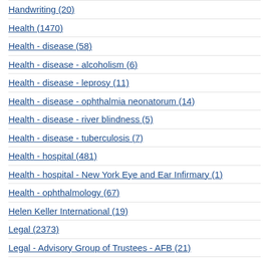Handwriting (20)
Health (1470)
Health - disease (58)
Health - disease - alcoholism (6)
Health - disease - leprosy (11)
Health - disease - ophthalmia neonatorum (14)
Health - disease - river blindness (5)
Health - disease - tuberculosis (7)
Health - hospital (481)
Health - hospital - New York Eye and Ear Infirmary (1)
Health - ophthalmology (67)
Helen Keller International (19)
Legal (2373)
Legal - Advisory Group of Trustees - AFB (21)